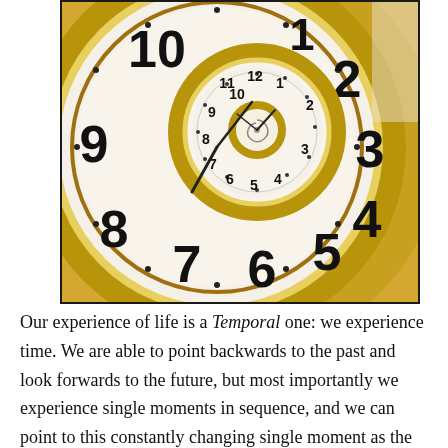[Figure (photo): A surreal spiral clock photo where a clock face spirals inward infinitely, with visible numbers 3-12 on the outer face and smaller clock faces within. The clock has a gold/brass metallic rim and a white face with black numerals.]
Our experience of life is a Temporal one: we experience time. We are able to point backwards to the past and look forwards to the future, but most importantly we experience single moments in sequence, and we can point to this constantly changing single moment as the